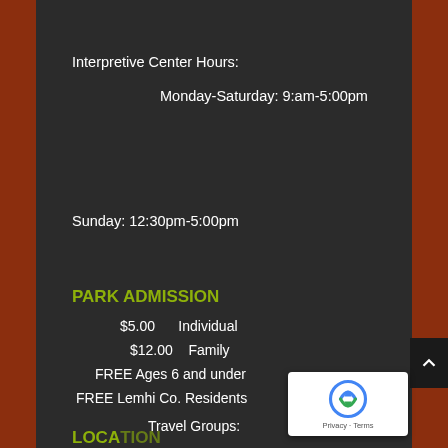Interpretive Center Hours:
Monday-Saturday: 9:am-5:00pm
Sunday: 12:30pm-5:00pm
PARK ADMISSION
$5.00     Individual
$12.00  Family
FREE Ages 6 and under
FREE Lemhi Co. Residents
Travel Groups:
Call for group rate
Field Trips/Teachers:
Call for rates
LOCATION